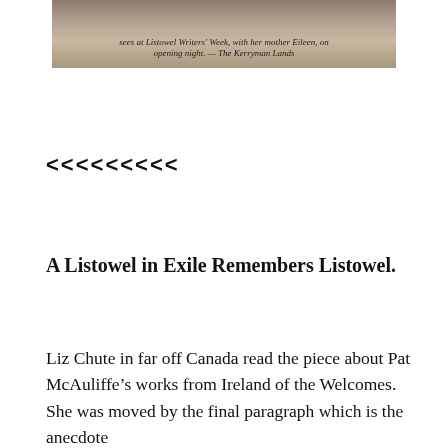[Figure (photo): Cropped newspaper photograph with an italic caption mentioning Listowel Writers' Week and a mother Eileen on opening night]
sees at Listowel Writers' Week, with her mother Eileen, on opening night. — The Kerryman Lands
<<<<<<<<<
A Listowel in Exile Remembers Listowel.
Liz Chute in far off Canada read the piece about Pat McAuliffe's works from Ireland of the Welcomes. She was moved by the final paragraph which is the anecdote